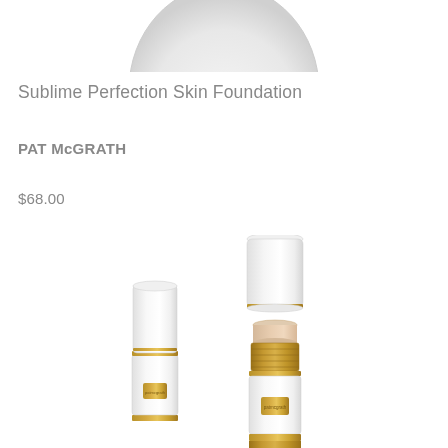[Figure (photo): Partial view of a white and gold makeup product cap/lid at the top of the page]
Sublime Perfection Skin Foundation
PAT McGRATH
$68.00
[Figure (photo): Two white and gold Pat McGrath foundation stick products shown with cap removed from one, revealing the gold and beige product tip. Both products have white cylindrical bodies with gold accents and small gold label plates.]